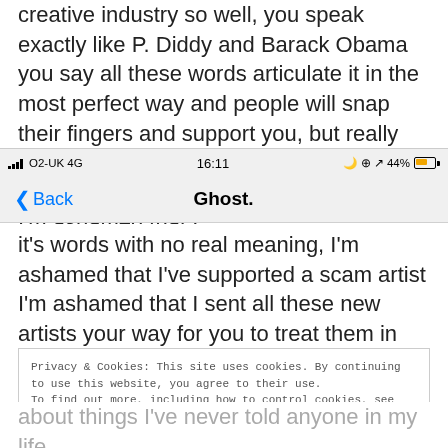creative industry so well, you speak exactly like P. Diddy and Barack Obama you say all these words articulate it in the most perfect way and people will snap their fingers and support you, but really it's words with no real meaning, I'm ashamed that I've supported a scam artist I'm ashamed that I
[Figure (screenshot): iOS status bar showing O2-UK 4G signal, time 16:11, and 44% battery]
[Figure (screenshot): iOS navigation bar with Back button and Ghost. title]
it's words with no real meaning, I'm ashamed that I've supported a scam artist I'm ashamed that I sent all these new artists your way for you to treat them in such a despicable manner, all these young lot with such big dreams and aspirations and one person shattered them, you remind me
Privacy & Cookies: This site uses cookies. By continuing to use this website, you agree to their use. To find out more, including how to control cookies, see here: Cookie Policy  Close and accept
about things I've never told anyone in my life